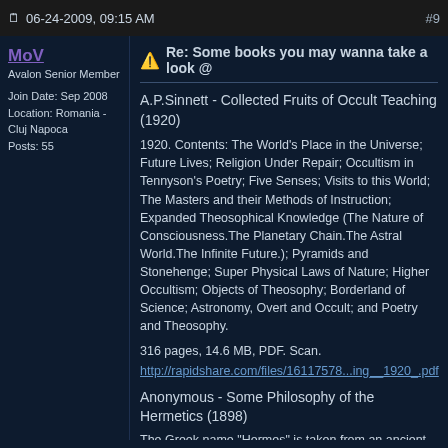06-24-2009, 09:15 AM   #9
MoV
Avalon Senior Member
Join Date: Sep 2008
Location: Romania - Cluj Napoca
Posts: 55
Re: Some books you may wanna take a look @
A.P.Sinnett - Collected Fruits of Occult Teaching (1920)
1920. Contents: The World's Place in the Universe; Future Lives; Religion Under Repair; Occultism in Tennyson's Poetry; Five Senses; Visits to this World; The Masters and their Methods of Instruction; Expanded Theosophical Knowledge (The Nature of Consciousness.The Planetary Chain.The Astral World.The Infinite Future.); Pyramids and Stonehenge; Super Physical Laws of Nature; Higher Occultism; Objects of Theosophy; Borderland of Science; Astronomy, Overt and Occult; and Poetry and Theosophy.
316 pages, 14.6 MB, PDF. Scan.
http://rapidshare.com/files/16117578...ing__1920_.pdf
Anonymous - Some Philosophy of the Hermetics (1898)
The Greek name "Hermes" is taken from an ancient root, "herm," meaning the activating, radiant and vital principle of life, known to ancient masonry as cosmic